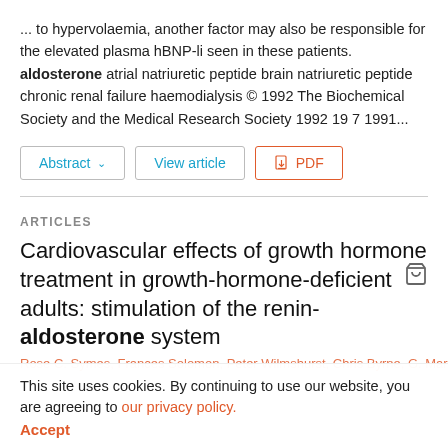... to hypervolaemia, another factor may also be responsible for the elevated plasma hBNP-li seen in these patients. aldosterone atrial natriuretic peptide brain natriuretic peptide chronic renal failure haemodialysis © 1992 The Biochemical Society and the Medical Research Society 1992 19 7 1991...
Abstract  View article  PDF
ARTICLES
Cardiovascular effects of growth hormone treatment in growth-hormone-deficient adults: stimulation of the renin-aldosterone system
Rose C. Symes, Frances Solomon, Peter Wilmshurst, Chris Byrne, G. Mark...
This site uses cookies. By continuing to use our website, you are agreeing to our privacy policy. Accept